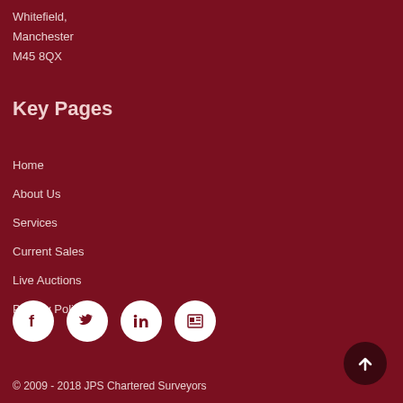Whitefield,
Manchester
M45 8QX
Key Pages
Home
About Us
Services
Current Sales
Live Auctions
Privacy Policy
[Figure (other): Social media icons: Facebook, Twitter, LinkedIn, News/Blog]
© 2009 - 2018 JPS Chartered Surveyors